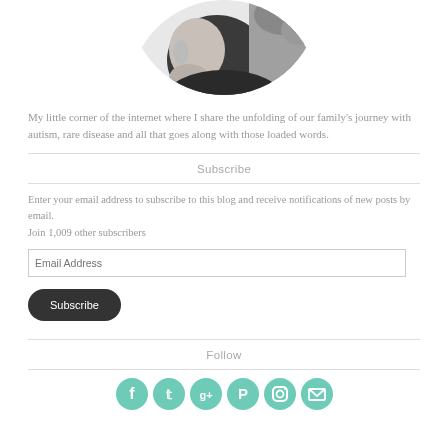[Figure (photo): Circular black and white photo of a child seen from the side, cropped at the top]
My little corner of the internet where I share the unfolding of our family's journey with autism, rare disease and all that goes along with those loaded words.
Subscribe
Enter your email address to subscribe to this blog and receive notifications of new posts by email.
Join 1,009 other subscribers
Follow
[Figure (infographic): Row of six teal circular social media icons: Facebook, Twitter, Google+, Pinterest, Instagram, Email]